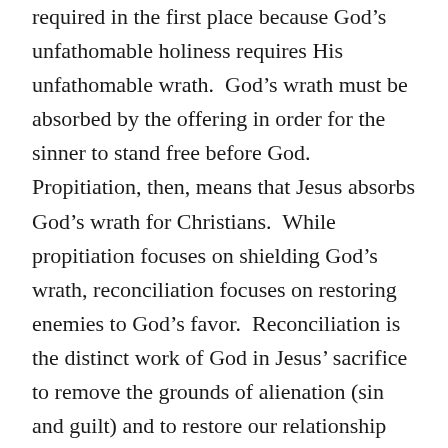required in the first place because God's unfathomable holiness requires His unfathomable wrath.  God's wrath must be absorbed by the offering in order for the sinner to stand free before God.  Propitiation, then, means that Jesus absorbs God's wrath for Christians.  While propitiation focuses on shielding God's wrath, reconciliation focuses on restoring enemies to God's favor.  Reconciliation is the distinct work of God in Jesus' sacrifice to remove the grounds of alienation (sin and guilt) and to restore our relationship with the Father.